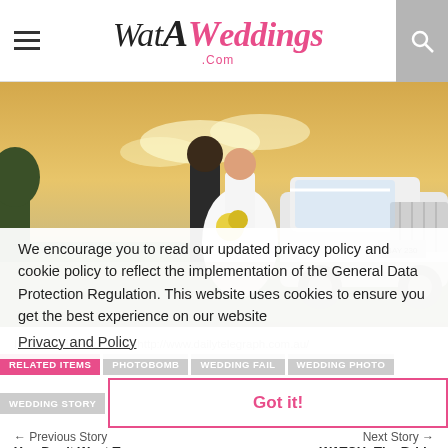WatAWeddings .Com
[Figure (photo): Wedding couple standing beside a white vintage car in a field at sunset]
We encourage you to read our updated privacy policy and cookie policy to reflect the implementation of the General Data Protection Regulation. This website uses cookies to ensure you get the best experience on our website
Privacy and Policy
Image and story source:http://www.dailytelegraph.com.au/
RELATED ITEMS  PHOTOBOMB  WEDDING FAIL  WEDDING PHOTO
WEDDING STORY
Got it!
← Previous Story
Next Story →
You Don't Want To K...
WATCH: The Bride S... W... A...